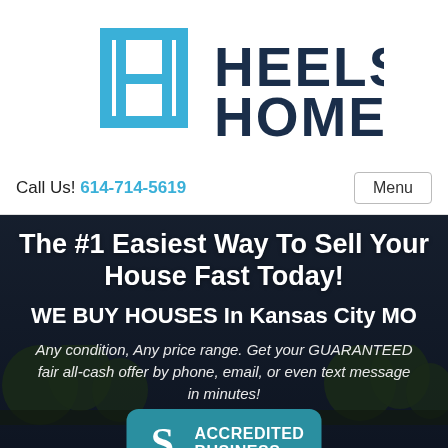[Figure (logo): Heels Homes company logo with a stylized H bracket icon in blue and dark navy text reading HEELS HOMES]
Call Us! 614-714-5619
Menu
[Figure (photo): Dark overlay photo of a house exterior with trees in background]
The #1 Easiest Way To Sell Your House Fast Today!
WE BUY HOUSES In Kansas City MO
Any condition, Any price range. Get your GUARANTEED fair all-cash offer by phone, email, or even text message in minutes!
[Figure (logo): BBB Accredited Business badge in teal/blue color]